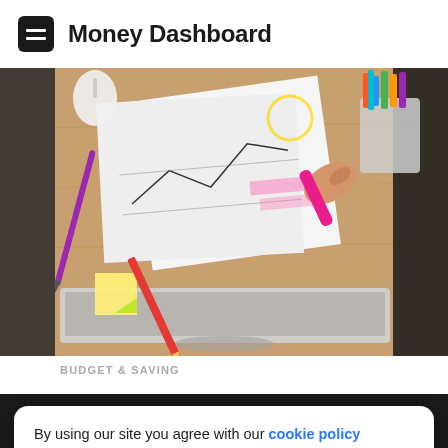Money Dashboard
[Figure (photo): Overhead view of a wooden desk with a laptop, papers with charts/drawings, pens, markers in a cup, a pink highlighter being held by a hand, sticky notes.]
BUDGET & SAVING
By using our site you agree with our cookie policy
Ok, got it
Download app